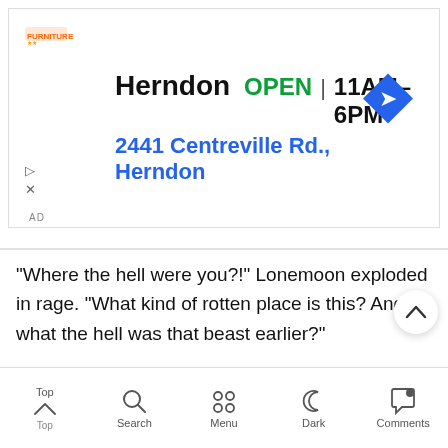[Figure (screenshot): Advertisement banner for Furniture store in Herndon. Shows store name 'Herndon', status 'OPEN', hours '11AM-6PM', address '2441 Centreville Rd., Herndon', with a blue navigation arrow icon and furniture store logo.]
"Where the hell were you?!" Lonemoon exploded in rage. "What kind of rotten place is this? And what the hell was that beast earlier?"
"You're in a newbie testing area. Before you passed the test, I could not contact you." Newbie area? He looked around once again and glanced at the beast that had now become ashes. Aside from its hideous looks, the beast was weak enough to be considered a low-level beast. This holographic game was too real.
[Figure (screenshot): Mobile app bottom navigation bar with icons: Top (home/chevron), Search (magnifier), Menu (four dots), Dark (moon), Comments (speech bubble with dot).]